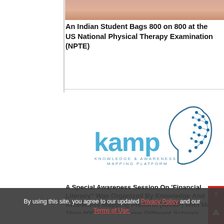[Figure (photo): Partial photo of a person in a red/orange sweater, cropped at the top of the page]
An Indian Student Bags 800 on 800 at the US National Physical Therapy Examination (NPTE)
[Figure (logo): KAMP - Knowledge & Awareness Mapping Platform logo with brain/network design in blue]
A Special Awareness Session On ‘Financial Literacy” Was Organized By Knowledge And Awareness Mapping Platform (KAMP) With More Than 800 Students From Different Schools Across India
By using this site, you agree to our updated Privacy Policy and our Terms of Use.